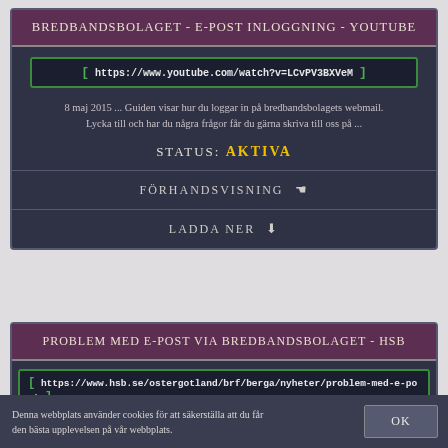BREDBANDSBOLAGET - E-POST INLOGGNING - YOUTUBE
https://www.youtube.com/watch?v=LCvPV3BXVeM
8 maj 2015 ... Guiden visar hur du loggar in på bredbandsbolagets webmail. Lycka till och har du några frågor får du gärna skriva till oss på ...
STATUS: AKTIVA
FÖRHANDSVISNING
LADDA NER
PROBLEM MED E-POST VIA BREDBANDSBOLAGET - HSB
https://www.hsb.se/ostergotland/brf/berga/nyheter/problem-med-e-post
Denna webbplats använder cookies för att säkerställa att du får den bästa upplevelsen på vår webbplats.